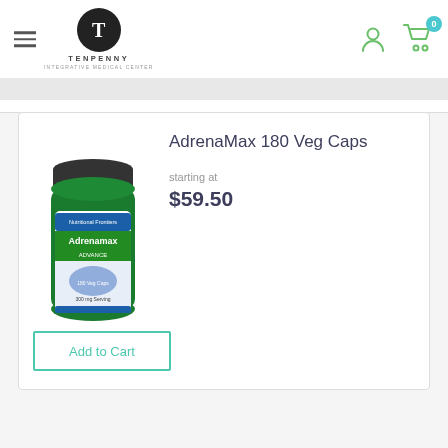Tenpenny Integrative Medical Center
[Figure (photo): Green supplement bottle labeled AdrenaMax with dark cap]
AdrenaMax 180 Veg Caps
starting at
$59.50
Add to Cart